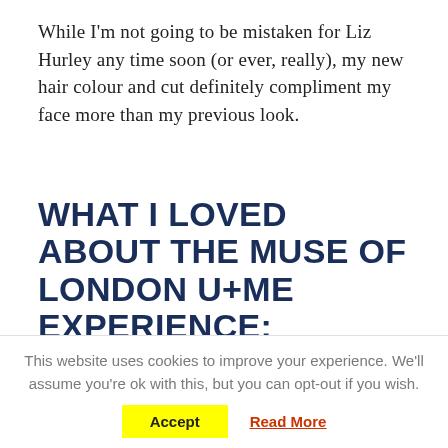While I'm not going to be mistaken for Liz Hurley any time soon (or ever, really), my new hair colour and cut definitely compliment my face more than my previous look.
WHAT I LOVED ABOUT THE MUSE OF LONDON U+ME EXPERIENCE:
– True to the booking, I was in and out of the salon in under two hours. Jason was by far the fastest hair stylist I have ever met. He credits this
This website uses cookies to improve your experience. We'll assume you're ok with this, but you can opt-out if you wish.